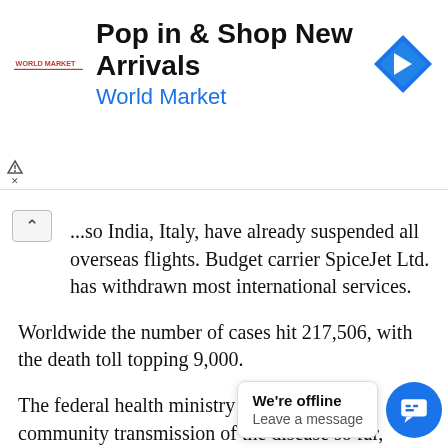[Figure (screenshot): Advertisement banner for World Market: 'Pop in & Shop New Arrivals / World Market' with a blue navigation arrow icon on the right and World Market logo on the left.]
...so India, Italy, have already suspended all overseas flights. Budget carrier SpiceJet Ltd. has withdrawn most international services.
Worldwide the number of cases hit 217,506, with the death toll topping 9,000.
The federal health ministry said there was no community transmission of the disease so far, while advising hospitals to avoid admission of non-urgent cases and minimize elective surgeries. The government's measures are primarily focused on taking preventive s... cha... Thursday's decision... ig... group of ministers.
[Figure (screenshot): Chat widget overlay with 'We're offline / Leave a message' bubble and blue circular chat button with message icon.]